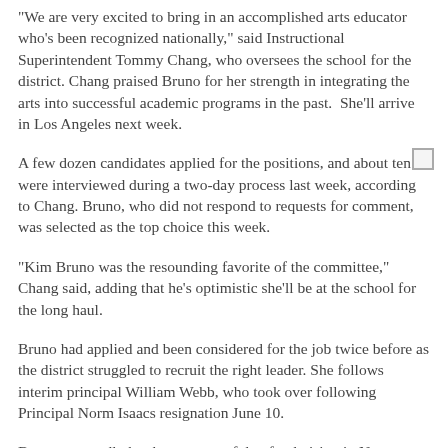"We are very excited to bring in an accomplished arts educator who's been recognized nationally," said Instructional Superintendent Tommy Chang, who oversees the school for the district. Chang praised Bruno for her strength in integrating the arts into successful academic programs in the past.  She'll arrive in Los Angeles next week.
A few dozen candidates applied for the positions, and about ten were interviewed during a two-day process last week, according to Chang. Bruno, who did not respond to requests for comment, was selected as the top choice this week.
"Kim Bruno was the resounding favorite of the committee," Chang said, adding that he's optimistic she'll be at the school for the long haul.
Bruno had applied and been considered for the job twice before as the district struggled to recruit the right leader. She follows interim principal William Webb, who took over following Principal Norm Isaacs resignation June 10.
Bruno reportedly has been successful at fundraising in New